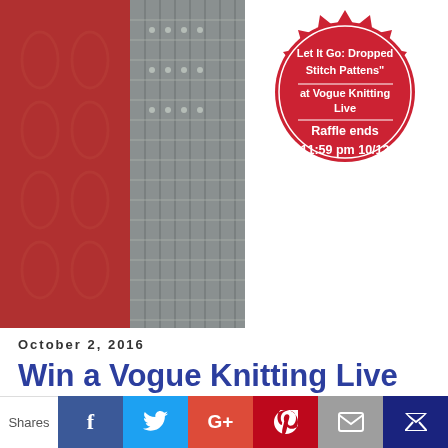[Figure (photo): Knitted fabric samples in red and grey showing dropped stitch patterns]
[Figure (infographic): Red burst/badge shape with white text: 'Let It Go: Dropped Stitch Pattens" at Vogue Knitting Live — Raffle ends 11:59 pm 10/13']
October 2, 2016
Win a Vogue Knitting Live class with ME!
Vogue Knitting Live is around the corner, and it's class raffle time! Recently you might have noticed my growing fondness for the amazing power of dropped stitches. I wrote about my two drop stitch patterns that I created after working on my new class. At Vogue Knitting Live